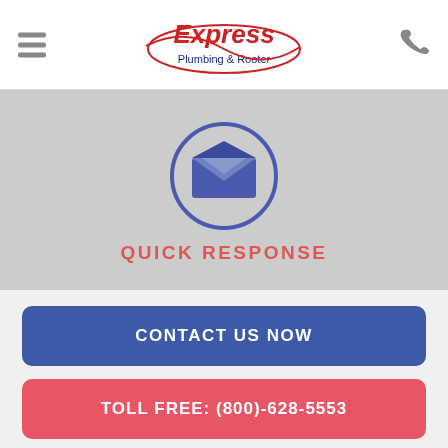[Figure (logo): Express Plumbing & Rooter logo with hamburger menu icon on left and phone icon on right]
[Figure (illustration): Open envelope icon inside a blue circle on gray background, with QUICK RESPONSE text below]
CONTACT US NOW
TOLL FREE: (800)-628-5553